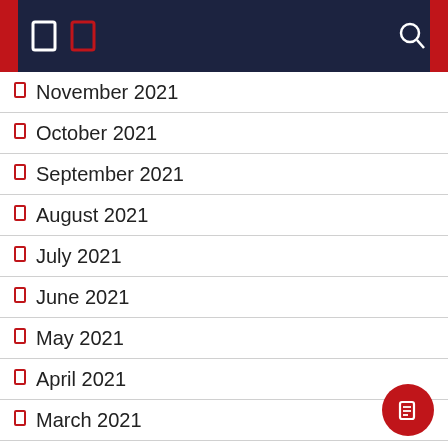Navigation header with icons
November 2021
October 2021
September 2021
August 2021
July 2021
June 2021
May 2021
April 2021
March 2021
February 2021